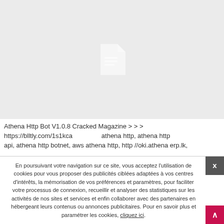[Figure (other): Gray placeholder image with a white document icon in the center]
Athena Http Bot V1.0.8 Cracked Magazine > > > https://blltly.com/1s1kca   athena http, athena http api, athena http botnet, aws athena http, http //oki.athena erp.lk,
En poursuivant votre navigation sur ce site, vous acceptez l'utilisation de cookies pour vous proposer des publicités ciblées adaptées à vos centres d'intérêts, la mémorisation de vos préférences et paramètres, pour faciliter votre processus de connexion, recueillir et analyser des statistiques sur les activités de nos sites et services et enfin collaborer avec des partenaires en hébergeant leurs contenus ou annonces publicitaires. Pour en savoir plus et paramétrer les cookies, cliquez ici.